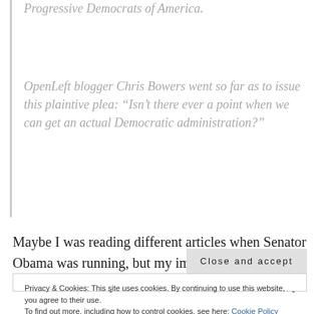Progressive Democrats of America.
OpenLeft blogger Chris Bowers went so far as to issue this plaintive plea: “Isn’t there ever a point when we can get an actual Democratic administration?”
Maybe I was reading different articles when Senator Obama was running, but my impression was that he was for the most part a centrist. So while I am very
Privacy & Cookies: This site uses cookies. By continuing to use this website, you agree to their use.
To find out more, including how to control cookies, see here: Cookie Policy
Close and accept